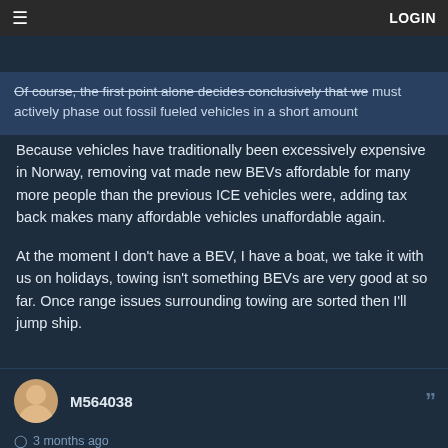≡   LOGIN
Of course, the first point alone decides conclusively that we must actively phase out fossil fueled vehicles in a short amount
Because vehicles have traditionally been excessively expensive in Norway, removing vat made new BEVs affordable for many more people than the previous ICE vehicles were, adding tax back makes many affordable vehicles unaffordable again.

At the moment I don't have a BEV, I have a boat, we take it with us on holidays, towing isn't something BEVs are very good at so far. Once range issues surrounding towing are sorted then I'll jump ship.
M564038
3 months ago
Every car I have owned up until the EVs was a stick shift. You could add a mock up one from a Winnie the Pooh toy car or something on your EV if you want something to hold in your right hand. The performance will still be better.